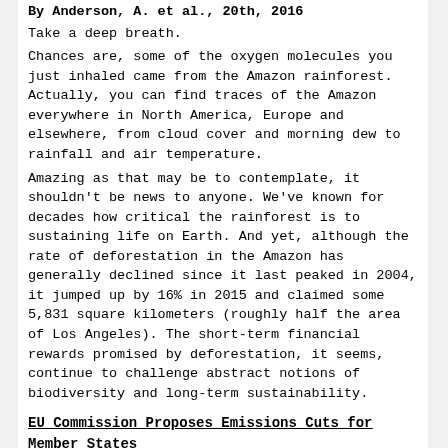By Anderson, A. et al., 20th, 2016
Take a deep breath.
Chances are, some of the oxygen molecules you just inhaled came from the Amazon rainforest. Actually, you can find traces of the Amazon everywhere in North America, Europe and elsewhere, from cloud cover and morning dew to rainfall and air temperature.
Amazing as that may be to contemplate, it shouldn't be news to anyone. We've known for decades how critical the rainforest is to sustaining life on Earth. And yet, although the rate of deforestation in the Amazon has generally declined since it last peaked in 2004, it jumped up by 16% in 2015 and claimed some 5,831 square kilometers (roughly half the area of Los Angeles). The short-term financial rewards promised by deforestation, it seems, continue to challenge abstract notions of biodiversity and long-term sustainability.
EU Commission Proposes Emissions Cuts for Member States
International Centre for Trade and Sustainable Development, 28 July 2016
The European Commission proposed country-specific emissions targets last week, clarifying the roles individual